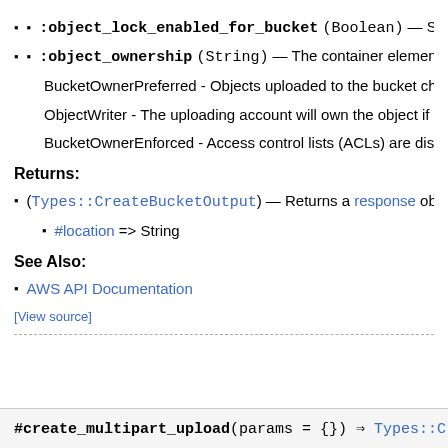:object_lock_enabled_for_bucket (Boolean) — Spec
:object_ownership (String) — The container element for
BucketOwnerPreferred - Objects uploaded to the bucket chang
ObjectWriter - The uploading account will own the object if the o
BucketOwnerEnforced - Access control lists (ACLs) are disable
Returns:
(Types::CreateBucketOutput) — Returns a response obje
#location => String
See Also:
AWS API Documentation
[View source]
#create_multipart_upload(params = {}) ⇒ Types::Crea